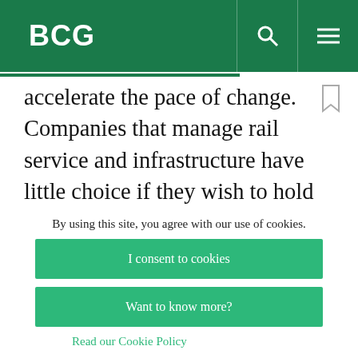BCG
accelerate the pace of change. Companies that manage rail service and infrastructure have little choice if they wish to hold their competitive ground, much less expand it. By embracing a digital transformation, operators can slash costs, improve service quality and reliability, and make maximum
By using this site, you agree with our use of cookies.
I consent to cookies
Want to know more?
Read our Cookie Policy